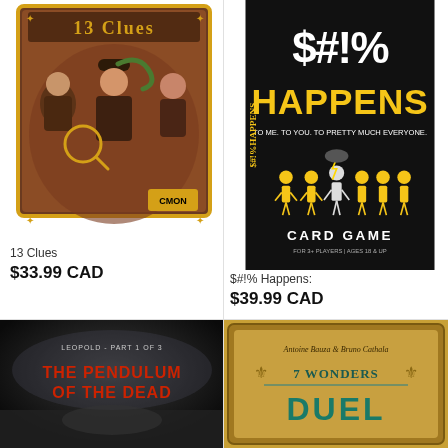[Figure (photo): Box art for the board game '13 Clues' showing detective characters on a brown/gold box]
13 Clues
$33.99 CAD
[Figure (photo): Box art for the card game '$#!% Happens' with bold yellow text on black background showing people silhouettes]
$#!% Happens:
$39.99 CAD
[Figure (photo): Book or game cover for 'Leopold - Part 1 of 3: The Pendulum of the Dead' with dark atmospheric art and red text]
[Figure (photo): Box art for '7 Wonders Duel' by Antoine Bauza & Bruno Cathala with teal/gold logo]